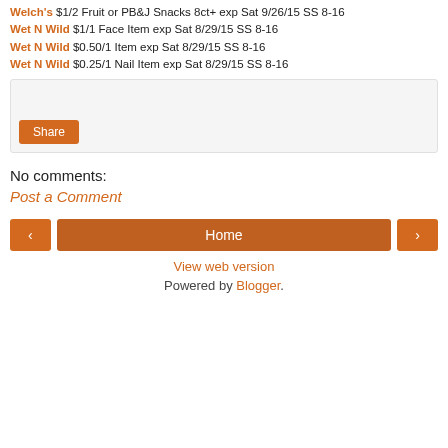Welch's $1/2 Fruit or PB&J Snacks 8ct+ exp Sat 9/26/15 SS 8-16
Wet N Wild $1/1 Face Item exp Sat 8/29/15 SS 8-16
Wet N Wild $0.50/1 Item exp Sat 8/29/15 SS 8-16
Wet N Wild $0.25/1 Nail Item exp Sat 8/29/15 SS 8-16
[Figure (other): Share button widget box with light gray background]
No comments:
Post a Comment
Home navigation with previous, home, and next buttons
View web version
Powered by Blogger.